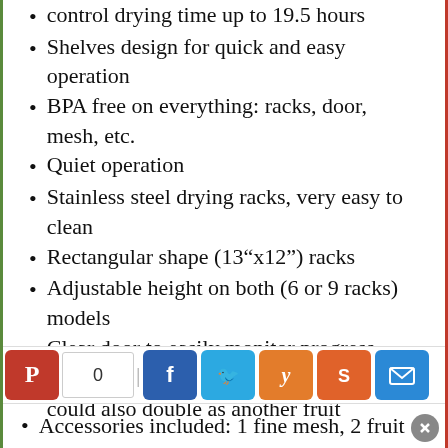control drying time up to 19.5 hours
Shelves design for quick and easy operation
BPA free on everything: racks, door, mesh, etc.
Quiet operation
Stainless steel drying racks, very easy to clean
Rectangular shape (13“x12”) racks
Adjustable height on both (6 or 9 racks) models
Clear door to easily monitor progress
Thin dripping tray for catching debris that could also double as another fruit
Accessories included: 1 fine mesh, 2 fruit